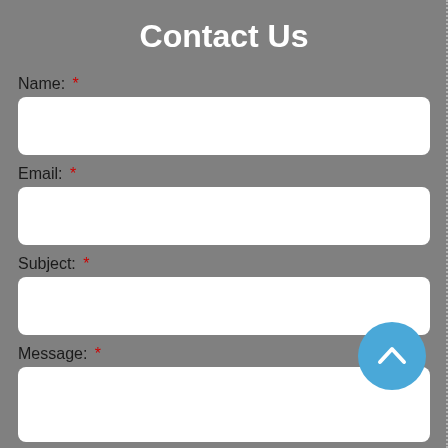Contact Us
Name: *
Email: *
Subject: *
Message: *
[Figure (other): Blue circular scroll-to-top button with white chevron/up-arrow icon]